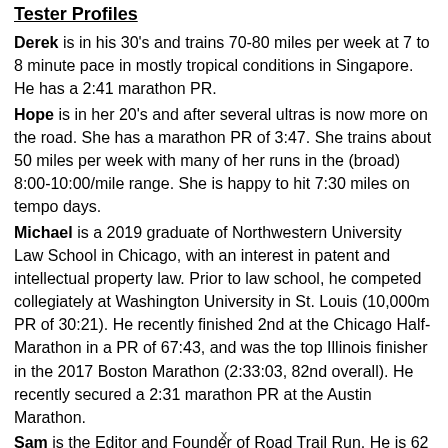Tester Profiles
Derek is in his 30's and trains 70-80 miles per week at 7 to 8 minute pace in mostly tropical conditions in Singapore. He has a 2:41 marathon PR.
Hope is in her 20's and after several ultras is now more on the road. She has a marathon PR of 3:47. She trains about 50 miles per week with many of her runs in the (broad) 8:00-10:00/mile range. She is happy to hit 7:30 miles on tempo days.
Michael is a 2019 graduate of Northwestern University Law School in Chicago, with an interest in patent and intellectual property law. Prior to law school, he competed collegiately at Washington University in St. Louis (10,000m PR of 30:21). He recently finished 2nd at the Chicago Half-Marathon in a PR of 67:43, and was the top Illinois finisher in the 2017 Boston Marathon (2:33:03, 82nd overall). He recently secured a 2:31 marathon PR at the Austin Marathon.
Sam is the Editor and Founder of Road Trail Run. He is 62 with a 2018 3:40 Boston qualifier. Sam has been running for
x